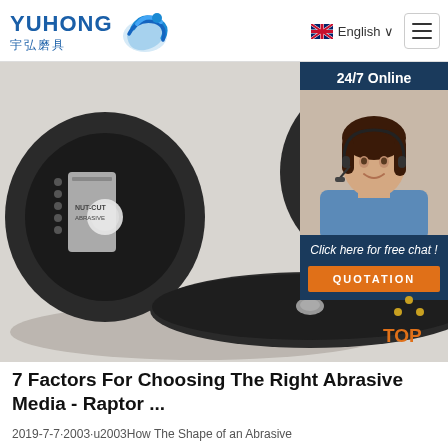[Figure (logo): Yuhong logo with blue wave icon, text YUHONG in blue and Chinese characters 宇弘磨具]
[Figure (screenshot): Website header navigation with English language selector and hamburger menu]
[Figure (photo): Abrasive cutting discs/wheels on white surface, product photo]
[Figure (photo): 24/7 Online chat overlay with female customer service representative wearing headset, with Click here for free chat and QUOTATION button]
7 Factors For Choosing The Right Abrasive Media - Raptor ...
2019-7-7·2003·u2003How The Shape of an Abrasive